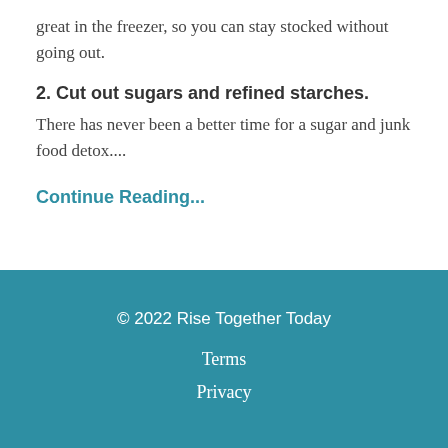great in the freezer, so you can stay stocked without going out.
2. Cut out sugars and refined starches.
There has never been a better time for a sugar and junk food detox....
Continue Reading...
© 2022 Rise Together Today
Terms
Privacy